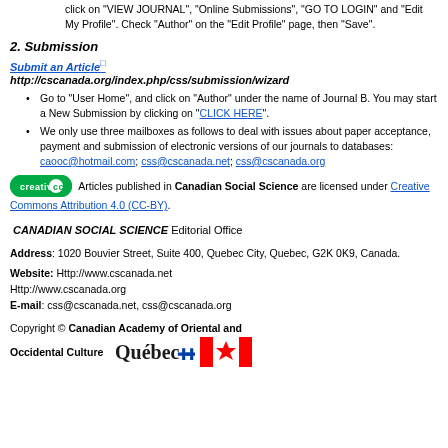click on "VIEW JOURNAL", "Online Submissions", "GO TO LOGIN" and "Edit My Profile". Check "Author" on the "Edit Profile" page, then "Save".
2. Submission
Submit an Article
http://cscanada.org/index.php/css/submission/wizard
Go to "User Home", and click on "Author" under the name of Journal B. You may start a New Submission by clicking on "CLICK HERE".
We only use three mailboxes as follows to deal with issues about paper acceptance, payment and submission of electronic versions of our journals to databases: caooc@hotmail.com; css@cscanada.net; css@cscanada.org
Articles published in Canadian Social Science are licensed under Creative Commons Attribution 4.0 (CC-BY).
CANADIAN SOCIAL SCIENCE Editorial Office
Address: 1020 Bouvier Street, Suite 400, Quebec City, Quebec, G2K 0K9, Canada.
Website: Http://www.cscanada.net
Http://www.cscanada.org
E-mail: css@cscanada.net, css@cscanada.org
Copyright © Canadian Academy of Oriental and Occidental Culture